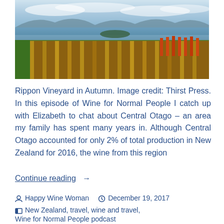[Figure (photo): Aerial/wide-angle photo of Rippon Vineyard in Autumn showing vineyard rows in golden/orange autumn colors with a lake and mountains in the background under a partly cloudy sky]
Rippon Vineyard in Autumn. Image credit: Thirst Press. In this episode of Wine for Normal People I catch up with Elizabeth to chat about Central Otago – an area my family has spent many years in. Although Central Otago accounted for only 2% of total production in New Zealand for 2016, the wine from this region
Continue reading  →
Happy Wine Woman   December 19, 2017
New Zealand, travel, wine and travel,
Wine for Normal People podcast